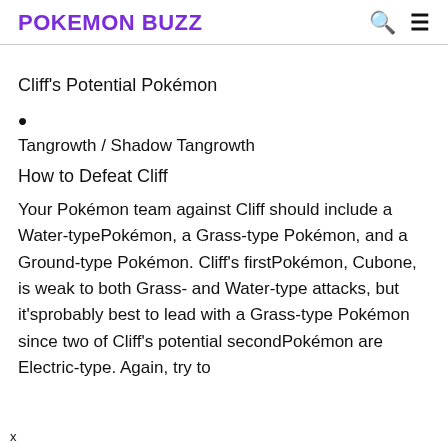POKEMON BUZZ
Cliff's Potential Pokémon
Tangrowth / Shadow Tangrowth
How to Defeat Cliff
Your Pokémon team against Cliff should include a Water-type Pokémon, a Grass-type Pokémon, and a Ground-type Pokémon. Cliff's first Pokémon, Cubone, is weak to both Grass- and Water-type attacks, but it's probably best to lead with a Grass-type Pokémon since two of Cliff's potential second Pokémon are Electric-type. Again, try to